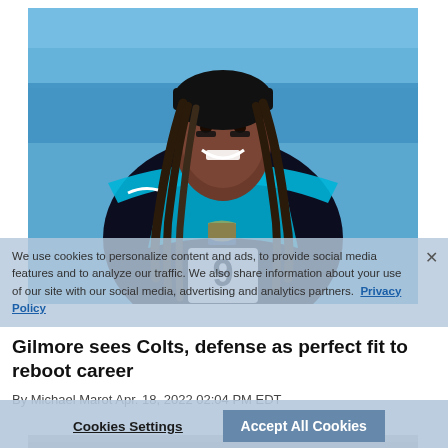[Figure (photo): NFL Carolina Panthers player in black and teal uniform, wearing a black cap backwards with dreadlocks, smiling, black eye stripe, NFL shield logo visible on jersey]
We use cookies to personalize content and ads, to provide social media features and to analyze our traffic. We also share information about your use of our site with our social media, advertising and analytics partners. Privacy Policy
Gilmore sees Colts, defense as perfect fit to reboot career
By Michael Marot Apr. 18, 2022 02:04 PM EDT
Cookies Settings   Accept All Cookies
[Figure (photo): Partial view of another photo at bottom of page, appears to show people in a crowd or sporting event]